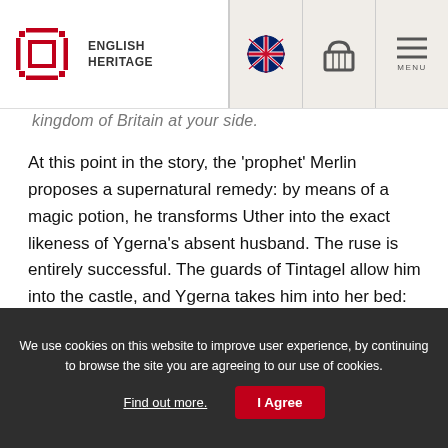English Heritage
kingdom of Britain at your side.
At this point in the story, the 'prophet' Merlin proposes a supernatural remedy: by means of a magic potion, he transforms Uther into the exact likeness of Ygerna's absent husband. The ruse is entirely successful. The guards of Tintagel allow him into the castle, and Ygerna takes him into her bed:
That night she conceived Arthur, the most famous of men, who subsequently won great renown by his outstanding bravery.
We use cookies on this website to improve user experience, by continuing to browse the site you are agreeing to our use of cookies. Find out more. I Agree